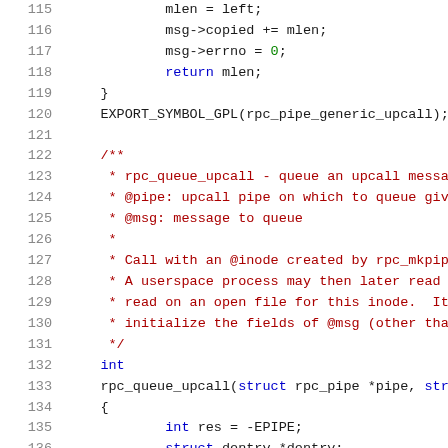[Figure (screenshot): Source code listing in C showing lines 115-136 of a kernel RPC pipe implementation. Lines include code for msg->copied, msg->errno, return mlen, closing brace, EXPORT_SYMBOL_GPL, and a Doxygen comment block for rpc_queue_upcall function followed by its declaration and opening brace with local variable declarations.]